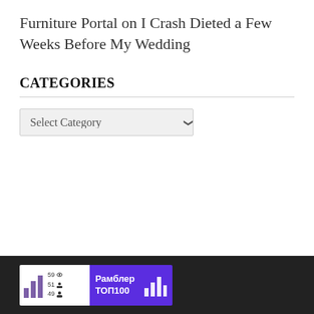Furniture Portal on I Crash Dieted a Few Weeks Before My Wedding
CATEGORIES
[Figure (screenshot): A dropdown select box labeled 'Select Category' with a chevron arrow on the right]
[Figure (logo): Rambler TOP100 badge widget showing stats: 59 views, 51 something, 49 users, with bar chart icon on left and 'Рамблер ТОП100' text on purple background on right]